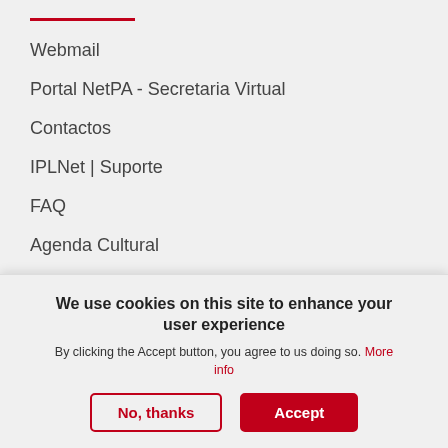Webmail
Portal NetPA - Secretaria Virtual
Contactos
IPLNet | Suporte
FAQ
Agenda Cultural
Moodle
UNIVERSO IPL
We use cookies on this site to enhance your user experience
By clicking the Accept button, you agree to us doing so. More info
No, thanks
Accept